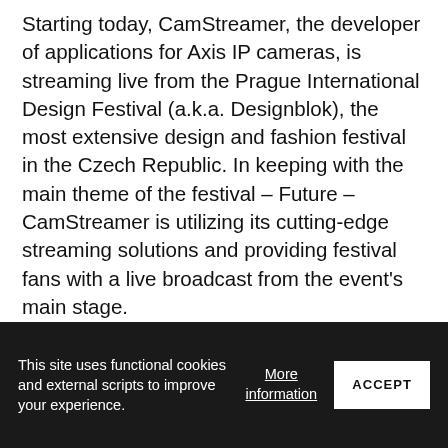Starting today, CamStreamer, the developer of applications for Axis IP cameras, is streaming live from the Prague International Design Festival (a.k.a. Designblok), the most extensive design and fashion festival in the Czech Republic. In keeping with the main theme of the festival – Future – CamStreamer is utilizing its cutting-edge streaming solutions and providing festival fans with a live broadcast from the event's main stage.
[Figure (other): Share button icon — a rounded square button with a share/network icon (three circles connected by lines)]
This site uses functional cookies and external scripts to improve your experience.
More information
ACCEPT